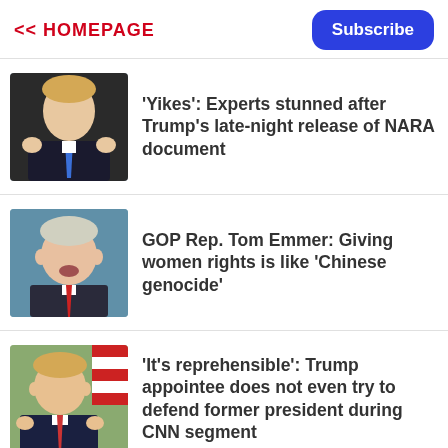<< HOMEPAGE
Subscribe
[Figure (photo): Photo of Donald Trump with hands raised, wearing a blue tie]
'Yikes': Experts stunned after Trump's late-night release of NARA document
[Figure (photo): Photo of GOP Rep. Tom Emmer speaking]
GOP Rep. Tom Emmer: Giving women rights is like 'Chinese genocide'
[Figure (photo): Photo of Donald Trump gesturing with hands, American flag in background]
'It's reprehensible': Trump appointee does not even try to defend former president during CNN segment